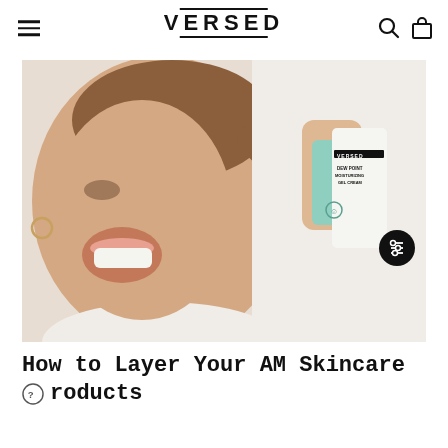VERSED
[Figure (photo): Smiling woman holding a Versed Dew Point Moisturizing Gel Cream tube (mint green and white packaging) up to her face against a light background.]
How to Layer Your AM Skincare Products